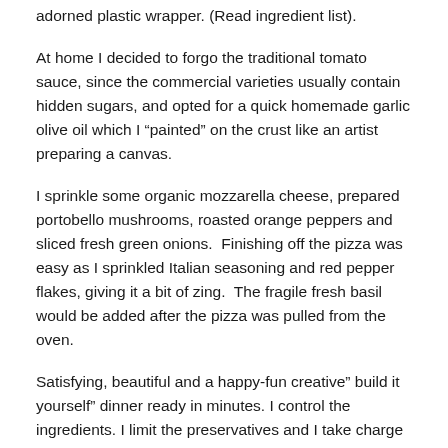adorned plastic wrapper. (Read ingredient list).
At home I decided to forgo the traditional tomato sauce, since the commercial varieties usually contain hidden sugars, and opted for a quick homemade garlic olive oil which I “painted” on the crust like an artist preparing a canvas.
I sprinkle some organic mozzarella cheese, prepared portobello mushrooms, roasted orange peppers and sliced fresh green onions.  Finishing off the pizza was easy as I sprinkled Italian seasoning and red pepper flakes, giving it a bit of zing.  The fragile fresh basil would be added after the pizza was pulled from the oven.
Satisfying, beautiful and a happy-fun creative” build it yourself” dinner ready in minutes. I control the ingredients. I limit the preservatives and I take charge of what I get to